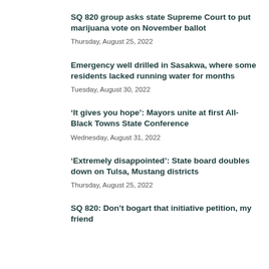SQ 820 group asks state Supreme Court to put marijuana vote on November ballot
Thursday, August 25, 2022
Emergency well drilled in Sasakwa, where some residents lacked running water for months
Tuesday, August 30, 2022
‘It gives you hope’: Mayors unite at first All-Black Towns State Conference
Wednesday, August 31, 2022
‘Extremely disappointed’: State board doubles down on Tulsa, Mustang districts
Thursday, August 25, 2022
SQ 820: Don’t bogart that initiative petition, my friend